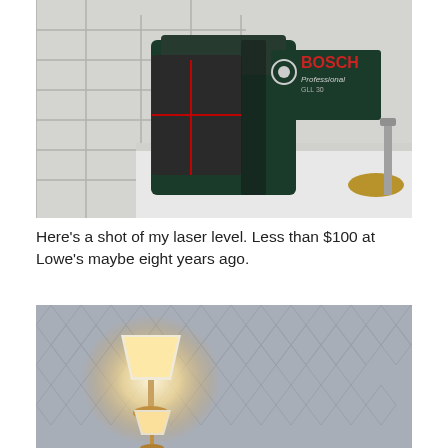[Figure (photo): A Bosch Professional GLL 30 laser level sitting on a white surface against a white subway tile wall. The laser level is dark green/black with red laser cross beams visible. A brass fixture and screw are visible on the right side.]
Here’s a shot of my laser level. Less than $100 at Lowe’s maybe eight years ago.
[Figure (photo): A room interior showing a lit table lamp against a gray diamond-patterned wallpaper background. The lamp has a white shade and is glowing warmly.]